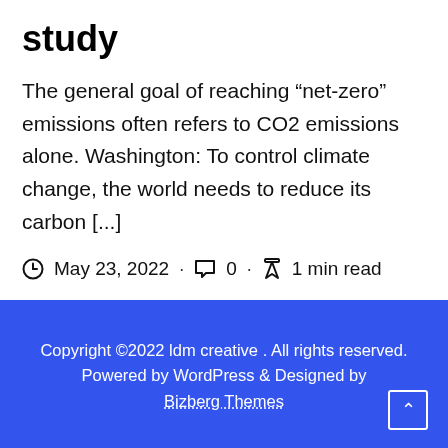study
The general goal of reaching “net-zero” emissions often refers to CO2 emissions alone. Washington: To control climate change, the world needs to reduce its carbon [...]
May 23, 2022 · 0 · 1 min read
Copyright ©2022 ldm creative . All rights reserved. Powered by WordPress & Designed by Bizberg Themes